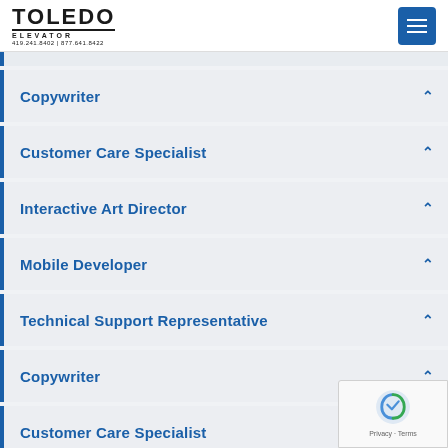Toledo Elevator | 419.241.8402 | 877.641.8422
Copywriter
Customer Care Specialist
Interactive Art Director
Mobile Developer
Technical Support Representative
Copywriter
Customer Care Specialist